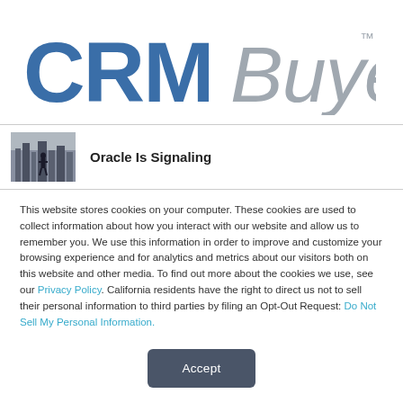[Figure (logo): CRMBuyer logo with bold blue 'CRM' and gray italic 'Buyer' text with TM mark]
Oracle Is Signaling
This website stores cookies on your computer. These cookies are used to collect information about how you interact with our website and allow us to remember you. We use this information in order to improve and customize your browsing experience and for analytics and metrics about our visitors both on this website and other media. To find out more about the cookies we use, see our Privacy Policy. California residents have the right to direct us not to sell their personal information to third parties by filing an Opt-Out Request: Do Not Sell My Personal Info.
Accept